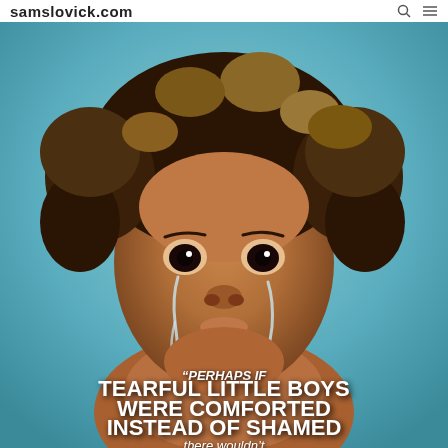samslovick.com
[Figure (photo): Close-up photograph of a young child with curly hair and tears on their cheeks, looking directly at the camera. Background is light blue. The child appears to be crying.]
"PERHAPS IF TEARFUL LITTLE BOYS WERE COMFORTED INSTEAD OF SHAMED there wouldn't be a more ris...